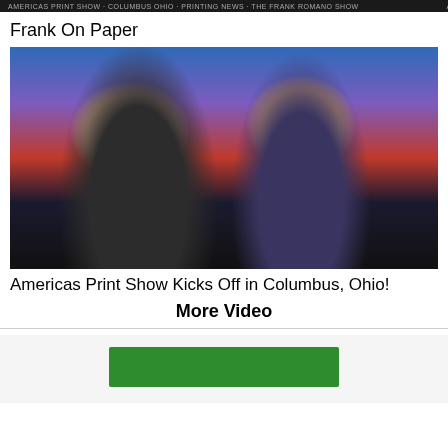[Figure (photo): Dark top strip banner with small text]
Frank On Paper
[Figure (photo): Two men smiling on a colorful TV studio set background. Left man wears a black polo shirt; right man wears a navy blazer. Background shows colorful printed graphics.]
Americas Print Show Kicks Off in Columbus, Ohio!
More Video
[Figure (other): Green rectangle banner at bottom of page on light grey background]